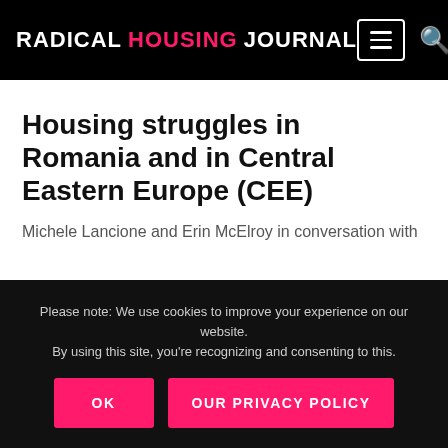RADICAL HOUSING JOURNAL
Housing struggles in Romania and in Central Eastern Europe (CEE)
Michele Lancione and Erin McElroy in conversation with
Please note: We use cookies to improve your experience on our website. By using this site, you're recognizing and consenting to this.
OK
OUR PRIVACY POLICY